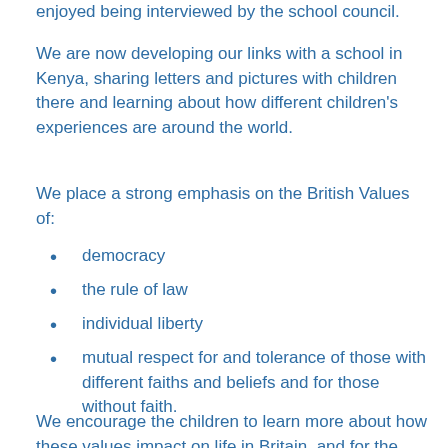enjoyed being interviewed by the school council.
We are now developing our links with a school in Kenya, sharing letters and pictures with children there and learning about how different children's experiences are around the world.
We place a strong emphasis on the British Values of:
democracy
the rule of law
individual liberty
mutual respect for and tolerance of those with different faiths and beliefs and for those without faith.
We encourage the children to learn more about how these values impact on life in Britain, and for the whole school community to show respect for these values at all times.